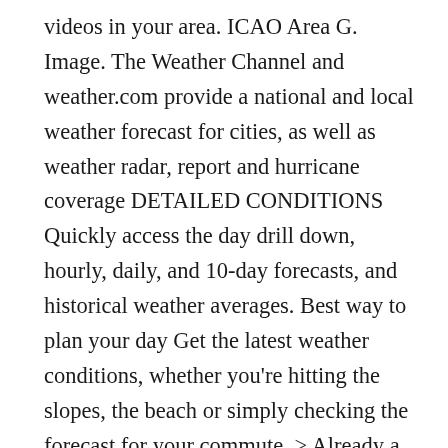videos in your area. ICAO Area G. Image. The Weather Channel and weather.com provide a national and local weather forecast for cities, as well as weather radar, report and hurricane coverage DETAILED CONDITIONS Quickly access the day drill down, hourly, daily, and 10-day forecasts, and historical weather averages. Best way to plan your day Get the latest weather conditions, whether you're hitting the slopes, the beach or simply checking the forecast for your commute. > Already a Pro subscriber? See the latest Birote, Khyber Pakhtunkhwa, Pakistan Enhanced RealVue™ weather map, showing a realistic view of Birote, Khyber Pakhtunkhwa, Pakistan from space, as taken from weather satellites. Log in with your IP. as well as compelling and dynamic weather news content. Find out at the AccuWeather.com